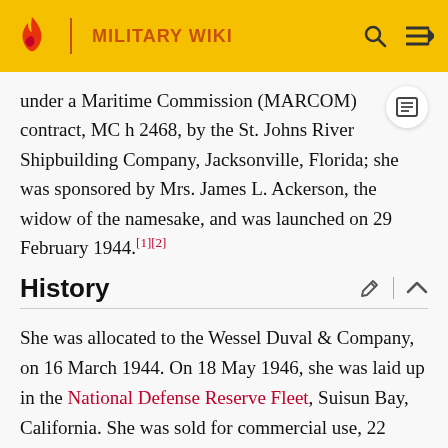MILITARY WIKI
under a Maritime Commission (MARCOM) contract, MC hull 2468, by the St. Johns River Shipbuilding Company, Jacksonville, Florida; she was sponsored by Mrs. James L. Ackerson, the widow of the namesake, and was launched on 29 February 1944.[1][2]
History
She was allocated to the Wessel Duval & Company, on 16 March 1944. On 18 May 1946, she was laid up in the National Defense Reserve Fleet, Suisun Bay, California. She was sold for commercial use, 22 January 1947, to Stavros S. Niarchos, for $544,506. She was removed from the fleet on 27 January 1947. James L. Ackerson